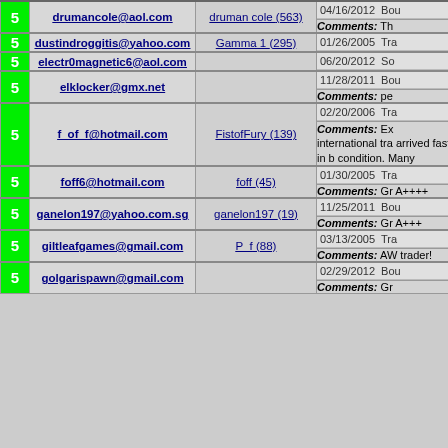| Rating | Email | Username | Date/Type/Comments |
| --- | --- | --- | --- |
| 5 | drumancole@aol.com | druman cole (563) | 04/16/2012 | Bou... | Comments: Th... |
| 5 | dustindroggitis@yahoo.com | Gamma 1 (295) | 01/26/2005 | Tra... |
| 5 | electr0magnetic6@aol.com |  | 06/20/2012 | So... |
| 5 | elklocker@gmx.net |  | 11/28/2011 | Bou... | Comments: pe... |
| 5 | f_of_f@hotmail.com | FistofFury (139) | 02/20/2006 | Tra... | Comments: Ex... international tra... arrived fast in b... condition. Many... |
| 5 | foff6@hotmail.com | foff (45) | 01/30/2005 | Tra... | Comments: Gr... A++++ |
| 5 | ganelon197@yahoo.com.sg | ganelon197 (19) | 11/25/2011 | Bou... | Comments: Gr... A+++ |
| 5 | giltleafgames@gmail.com | P_f (88) | 03/13/2005 | Tra... | Comments: AW... trader! |
| 5 | golgarispawn@gmail.com |  | 02/29/2012 | Bou... | Comments: Gr... |